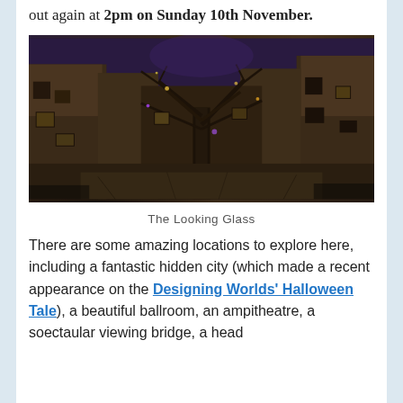out again at 2pm on Sunday 10th November.
[Figure (photo): Dark fantasy video game scene of a medieval city at night with a large bare tree in the center, stone buildings with lit windows, and a purple sky. The Looking Glass.]
The Looking Glass
There are some amazing locations to explore here, including a fantastic hidden city (which made a recent appearance on the Designing Worlds' Halloween Tale), a beautiful ballroom, an ampitheatre, a soectaular viewing bridge, a head